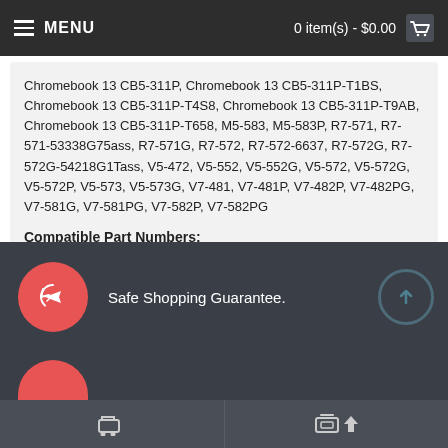MENU  0 item(s) - $0.00
Chromebook 13 CB5-311P, Chromebook 13 CB5-311P-T1BS, Chromebook 13 CB5-311P-T4S8, Chromebook 13 CB5-311P-T9AB, Chromebook 13 CB5-311P-T658, M5-583, M5-583P, R7-571, R7-571-53338G75ass, R7-571G, R7-572, R7-572-6637, R7-572G, R7-572G-54218G1Tass, V5-472, V5-552, V5-552G, V5-572, V5-572G, V5-572P, V5-573, V5-573G, V7-481, V7-481P, V7-482P, V7-482PG, V7-581G, V7-581PG, V7-582P, V7-582PG
Compatible Part Numbers:
4ICP6/60/78, AP13B3K, AP13B8K, KT.00403.015, KT00403015
Tags: Aspire —
Safe Shopping Guarantee.